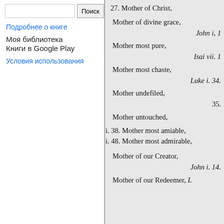Поиск
Подробнее о книге
Моя библиотека
Книги в Google Play
Условия использования
27. Mother of Christ,
Mother of divine grace,
John i, 1
Mother most pure,
Isai vii. 1
Mother most chaste,
Luke i. 34.
Mother undefiled,
35.
Mother untouched,
i. 38. Mother most amiable,
i. 48. Mother most admirable,
Mother of our Creator,
John i. 14.
Mother of our Redeemer, L